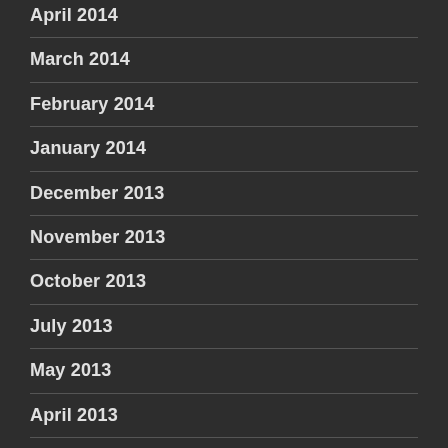April 2014
March 2014
February 2014
January 2014
December 2013
November 2013
October 2013
July 2013
May 2013
April 2013
January 2013